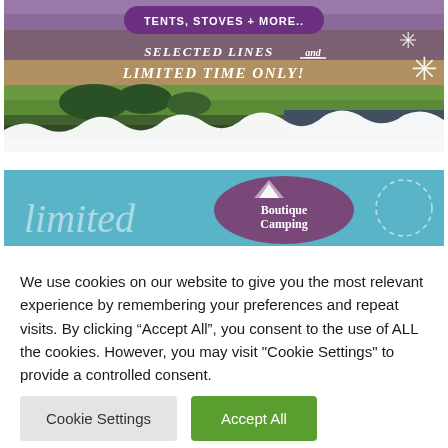[Figure (illustration): Promotional banner showing lavender fields with text 'TENTS, STOVES + MORE..' in a purple pill button, and 'SELECTED LINES and LIMITED TIME ONLY!' in white italic text, with snowflake decorations.]
[Figure (illustration): Boutique Camping branded banner on teal/sky-blue background with 'limited' written in cursive and the Boutique Camping logo in a purple oval shape.]
We use cookies on our website to give you the most relevant experience by remembering your preferences and repeat visits. By clicking “Accept All”, you consent to the use of ALL the cookies. However, you may visit "Cookie Settings" to provide a controlled consent.
Cookie Settings
Accept All